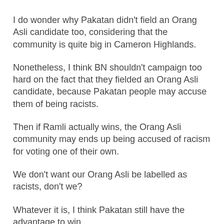I do wonder why Pakatan didn't field an Orang Asli candidate too, considering that the community is quite big in Cameron Highlands.
Nonetheless, I think BN shouldn't campaign too hard on the fact that they fielded an Orang Asli candidate, because Pakatan people may accuse them of being racists.
Then if Ramli actually wins, the Orang Asli community may ends up being accused of racism for voting one of their own.
We don't want our Orang Asli be labelled as racists, don't we?
Whatever it is, I think Pakatan still have the advantage to win.
The Cameron Highlands electorate breakdown are Malay 33.5%; Chinese 29.48%; Indian 14.91%; Orang Asli (Peninsular Malaysia) 21.56%; Bumiputera Sabah 0.12%;